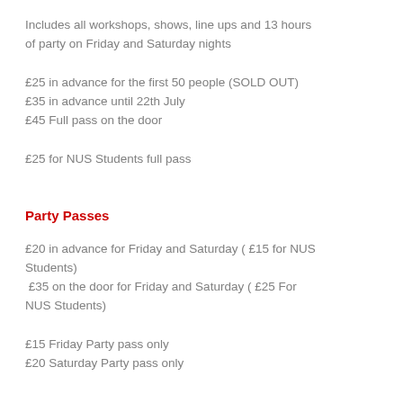Includes all workshops, shows, line ups and 13 hours of party on Friday and Saturday nights
£25 in advance for the first 50 people (SOLD OUT)
£35 in advance until 22th July
£45 Full pass on the door
£25 for NUS Students full pass
Party Passes
£20 in advance for Friday and Saturday ( £15 for NUS Students)
 £35 on the door for Friday and Saturday ( £25 For NUS Students)
£15 Friday Party pass only
£20 Saturday Party pass only